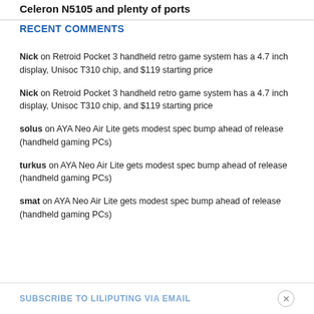Celeron N5105 and plenty of ports
RECENT COMMENTS
Nick on Retroid Pocket 3 handheld retro game system has a 4.7 inch display, Unisoc T310 chip, and $119 starting price
Nick on Retroid Pocket 3 handheld retro game system has a 4.7 inch display, Unisoc T310 chip, and $119 starting price
solus on AYA Neo Air Lite gets modest spec bump ahead of release (handheld gaming PCs)
turkus on AYA Neo Air Lite gets modest spec bump ahead of release (handheld gaming PCs)
smat on AYA Neo Air Lite gets modest spec bump ahead of release (handheld gaming PCs)
SUBSCRIBE TO LILIPUTING VIA EMAIL